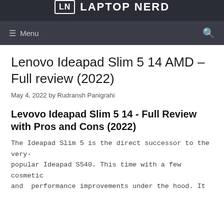LN LAPTOP NERD
Menu
Lenovo Ideapad Slim 5 14 AMD – Full review (2022)
May 4, 2022 by Rudransh Panigrahi
Levovo Ideapad Slim 5 14 - Full Review with Pros and Cons (2022)
The Ideapad Slim 5 is the direct successor to the very-popular Ideapad S540. This time with a few cosmetic and  performance improvements under the hood. It